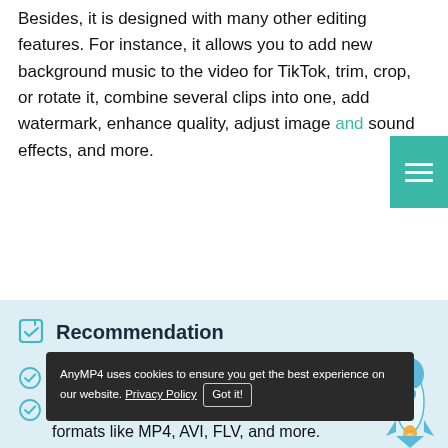Besides, it is designed with many other editing features. For instance, it allows you to add new background music to the video for TikTok, trim, crop, or rotate it, combine several clips into one, add watermark, enhance quality, adjust image and sound effects, and more.
Recommendation
Best TikTok video editor to add text at different times on TikTok video.
Support all popular 8K/5K/4K, HD, and SD video formats like MP4, AVI, FLV, and more.
Offer many editing features, filters, and effects to customize your TikTok video.
Supply toolbox including Video Enhancer...